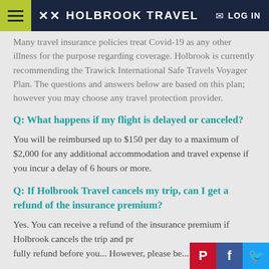HOLBROOK TRAVEL
Many travel insurance policies treat Covid-19 as any other illness for the purpose regarding coverage. Holbrook is currently recommending the Trawick International Safe Travels Voyager Plan. The questions and answers below are based on this plan; however you may choose any travel protection provider.
Q: What happens if my flight is delayed or canceled?
You will be reimbursed up to $150 per day to a maximum of $2,000 for any additional accommodation and travel expense if you incur a delay of 6 hours or more.
Q: If Holbrook Travel cancels my trip, can I get a refund of the insurance premium?
Yes. You can receive a refund of the insurance premium if Holbrook cancels the trip and pr... fully refund before you...